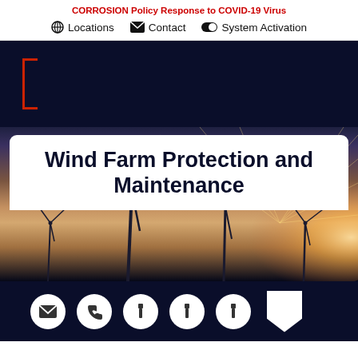CORROSION Policy Response to COVID-19 Virus
Locations   Contact   System Activation
[Figure (screenshot): Dark navy header band with a red outline bracket on the left side]
Wind Farm Protection and Maintenance
[Figure (photo): Wind farm at sunset with multiple wind turbines silhouetted against an orange sky with sun rays]
Footer bar with email, phone, and other icon buttons in white circles on dark navy background